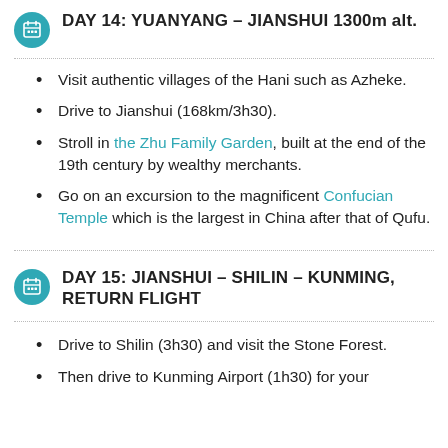DAY 14: YUANYANG – JIANSHUI 1300m alt.
Visit authentic villages of the Hani such as Azheke.
Drive to Jianshui (168km/3h30).
Stroll in the Zhu Family Garden, built at the end of the 19th century by wealthy merchants.
Go on an excursion to the magnificent Confucian Temple which is the largest in China after that of Qufu.
DAY 15: JIANSHUI – SHILIN – KUNMING, RETURN FLIGHT
Drive to Shilin (3h30) and visit the Stone Forest.
Then drive to Kunming Airport (1h30) for your